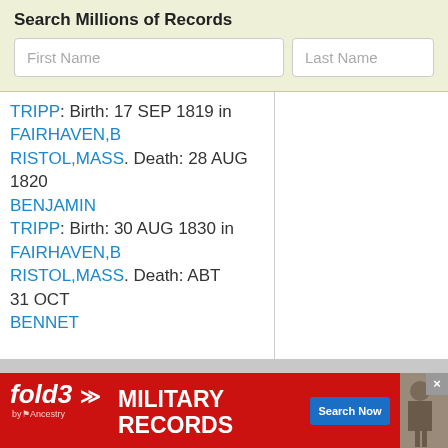Search Millions of Records
First Name
Last Name
TRIPP: Birth: 17 SEP 1819 in FAIRHAVEN,BRISTOL,MASS. Death: 28 AUG 1820 BENJAMIN TRIPP: Birth: 30 AUG 1830 in FAIRHAVEN,BRISTOL,MASS. Death: ABT 31 OCT BENNET
[Figure (screenshot): fold3 by Ancestry military records advertisement banner with search button and soldier photo]